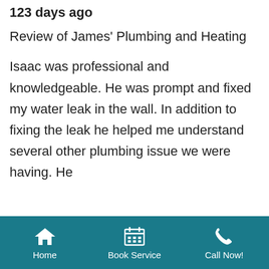123 days ago
Review of James' Plumbing and Heating
Isaac was professional and knowledgeable. He was prompt and fixed my water leak in the wall. In addition to fixing the leak he helped me understand several other plumbing issue we were having. He
Home | Book Service | Call Now!